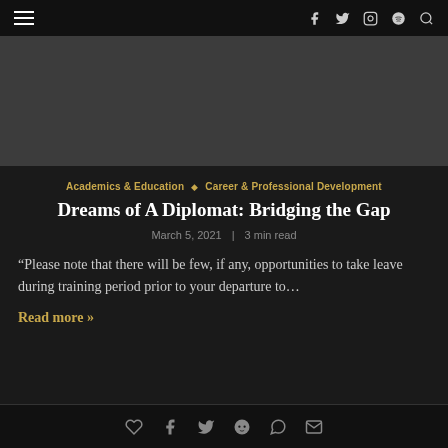Navigation bar with hamburger menu and social icons (f, twitter, instagram, spotify, search)
[Figure (photo): Dark gray hero image placeholder]
Academics & Education  ◆  Career & Professional Development
Dreams of A Diplomat: Bridging the Gap
March 5, 2021  |  3 min read
“Please note that there will be few, if any, opportunities to take leave during training period prior to your departure to…
Read more »
Social share icons: heart, facebook, twitter, reddit, whatsapp, email